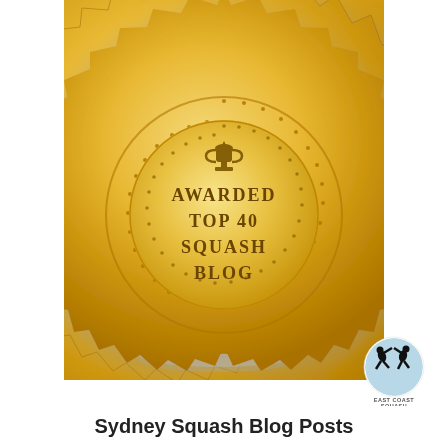[Figure (illustration): Gold medal with red and yellow ribbon at top, gear/star-burst edge, decorative dot ring, inner circle with trophy icon and text 'AWARDED TOP 40 SQUASH BLOG' in brown serif font]
[Figure (logo): East Coast Squash logo - circular logo with squash players silhouette and text 'EAST COAST SQUASH']
Sydney Squash Blog Posts